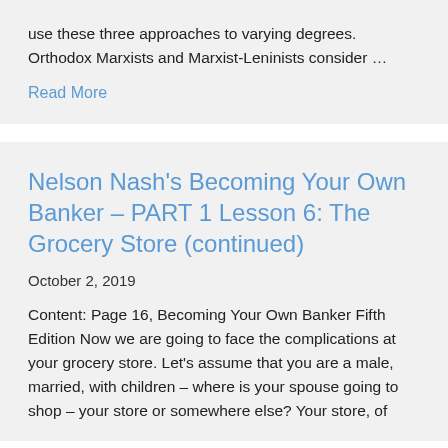use these three approaches to varying degrees. Orthodox Marxists and Marxist-Leninists consider …
Read More
Nelson Nash's Becoming Your Own Banker – PART 1 Lesson 6: The Grocery Store (continued)
October 2, 2019
Content: Page 16, Becoming Your Own Banker Fifth Edition Now we are going to face the complications at your grocery store. Let's assume that you are a male, married, with children – where is your spouse going to shop – your store or somewhere else? Your store, of